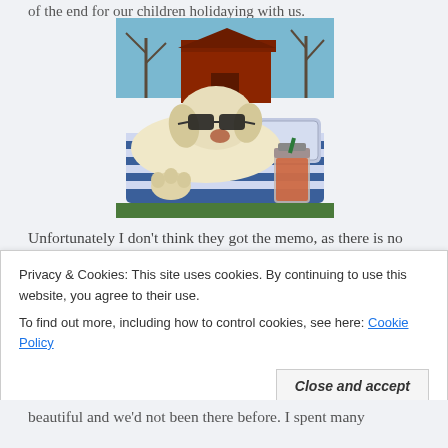of the end for our children holidaying with us.
[Figure (photo): A golden retriever dog wearing sunglasses lying on a blue lounger/deck chair outdoors, with a Starbucks iced drink beside it. A wooden shed/kennel is visible in the background along with a garden fence.]
Unfortunately I don't think they got the memo, as there is no sign of them staying at home, although surprise
Privacy & Cookies: This site uses cookies. By continuing to use this website, you agree to their use.
To find out more, including how to control cookies, see here: Cookie Policy
Close and accept
beautiful and we'd not been there before. I spent many